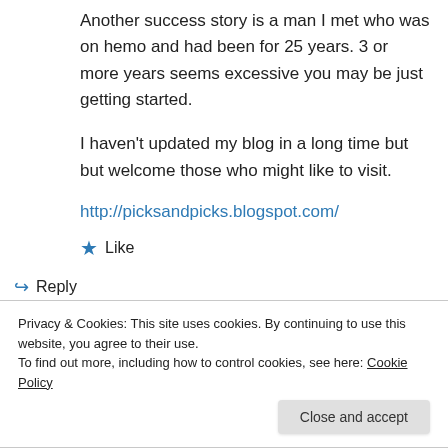Another success story is a man I met who was on hemo and had been for 25 years. 3 or more years seems excessive you may be just getting started.
I haven't updated my blog in a long time but but welcome those who might like to visit.
http://picksandpicks.blogspot.com/
★ Like
↪ Reply
Privacy & Cookies: This site uses cookies. By continuing to use this website, you agree to their use. To find out more, including how to control cookies, see here: Cookie Policy